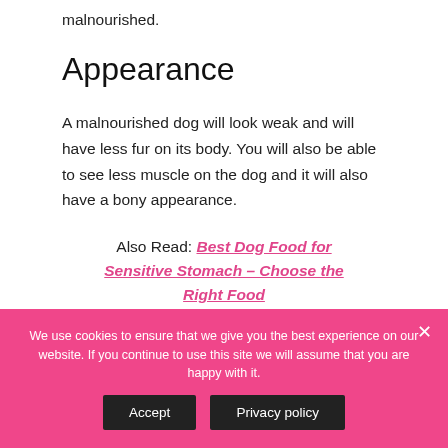malnourished.
Appearance
A malnourished dog will look weak and will have less fur on its body. You will also be able to see less muscle on the dog and it will also have a bony appearance.
Also Read: Best Dog Food for Sensitive Stomach – Choose the Right Food
We use cookies to ensure that we give you the best experience on our website. If you continue to use this site we will assume that you are happy with it.